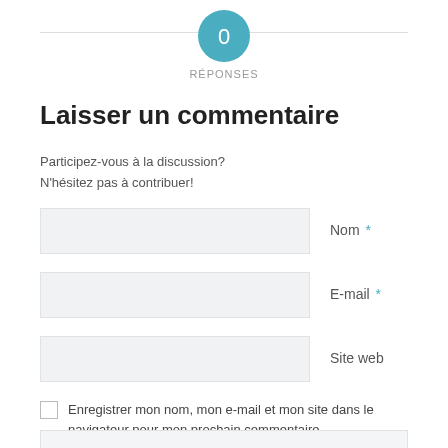[Figure (other): Teal circular badge with the number 0 inside]
RÉPONSES
Laisser un commentaire
Participez-vous à la discussion?
N'hésitez pas à contribuer!
Nom *
E-mail *
Site web
Enregistrer mon nom, mon e-mail et mon site dans le navigateur pour mon prochain commentaire.